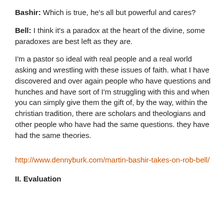Bashir: Which is true, he's all but powerful and cares?
Bell: I think it's a paradox at the heart of the divine, some paradoxes are best left as they are.
I'm a pastor so ideal with real people and a real world asking and wrestling with these issues of faith. what I have discovered and over again people who have questions and hunches and have sort of I'm struggling with this and when you can simply give them the gift of, by the way, within the christian tradition, there are scholars and theologians and other people who have had the same questions. they have had the same theories.
http://www.dennyburk.com/martin-bashir-takes-on-rob-bell/
II. Evaluation